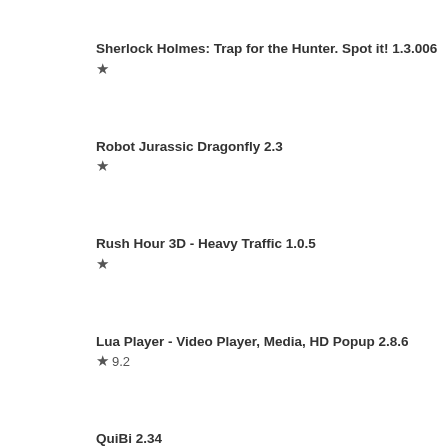Sherlock Holmes: Trap for the Hunter. Spot it! 1.3.006
★
Robot Jurassic Dragonfly 2.3
★
Rush Hour 3D - Heavy Traffic 1.0.5
★
Lua Player - Video Player, Media, HD Popup 2.8.6
★ 9.2
QuiBi 2.34